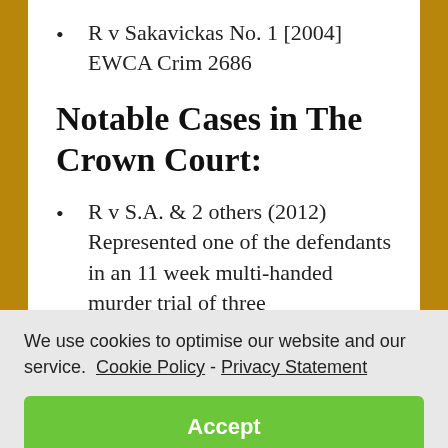R v Sakavickas No. 1 [2004] EWCA Crim 2686
Notable Cases in The Crown Court:
R v S.A. & 2 others (2012) Represented one of the defendants in an 11 week multi-handed murder trial of three
We use cookies to optimise our website and our service.  Cookie Policy - Privacy Statement
Accept